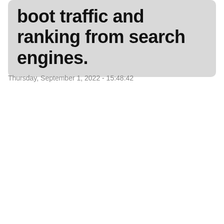boot traffic and ranking from search engines.
Thursday, September 1, 2022 - 15:48:42